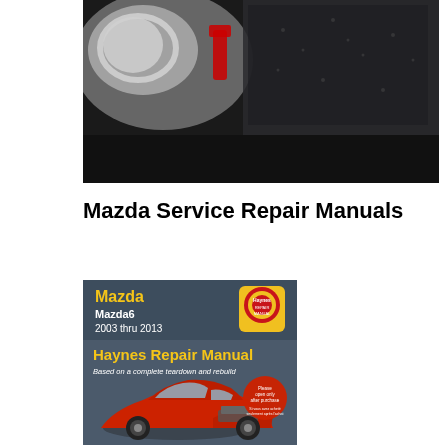[Figure (photo): Close-up photo of a car side mirror and window detail, with chrome and dark background]
Mazda Service Repair Manuals
[Figure (photo): Haynes Repair Manual book cover for Mazda Mazda6 2003 thru 2013, showing a red Mazda car with hood open, Haynes logo, and text 'Based on a complete teardown and rebuild']